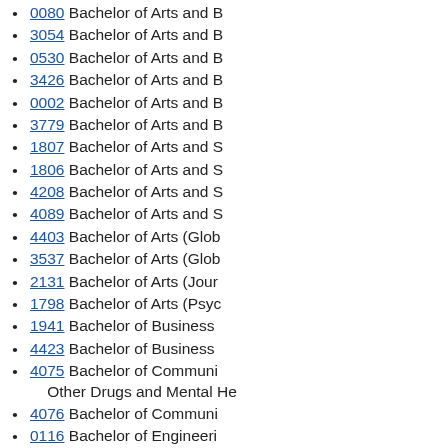0080 Bachelor of Arts and B
3054 Bachelor of Arts and B
0530 Bachelor of Arts and B
3426 Bachelor of Arts and B
0002 Bachelor of Arts and B
3779 Bachelor of Arts and B
1807 Bachelor of Arts and S
1806 Bachelor of Arts and S
4208 Bachelor of Arts and S
4089 Bachelor of Arts and S
4403 Bachelor of Arts (Glob
3537 Bachelor of Arts (Glob
2131 Bachelor of Arts (Jour
1798 Bachelor of Arts (Psyc
1941 Bachelor of Business
4423 Bachelor of Business
4075 Bachelor of Communi Other Drugs and Mental He
4076 Bachelor of Communi
0116 Bachelor of Engineeri
3281 Bachelor of Mechatro
1945 Bachelor of Professio